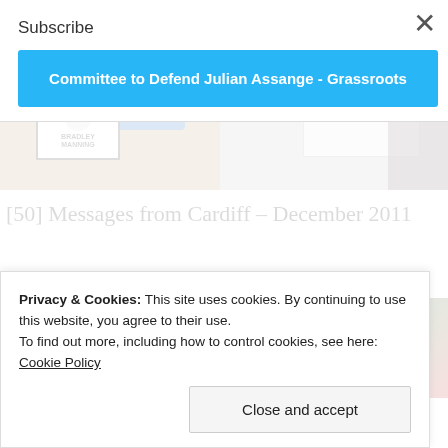[Figure (photo): Two protest photos side by side: left shows a 'Free Bradley Manning' sign on a table with stickers and a blue clipboard; right shows people holding a whiteboard sign reading 'Stay Strong and Support the Truth']
[50] Messages from Cardiff – December 2011
[Figure (photo): Partial photo of a purple/multi-colored background scene]
Subscribe
Committee to Defend Julian Assange - Grassroots
Privacy & Cookies: This site uses cookies. By continuing to use this website, you agree to their use.
To find out more, including how to control cookies, see here: Cookie Policy
Close and accept